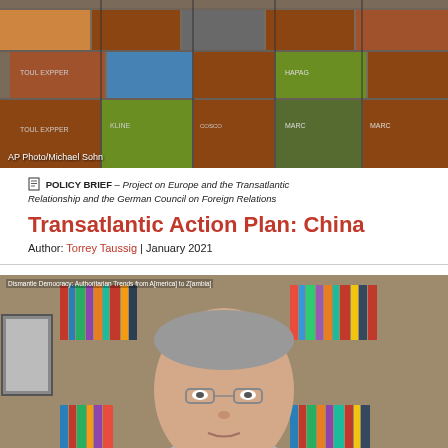[Figure (photo): Stacked shipping/cargo containers, multiple colors including brown, green, blue, red. Photo credit: AP Photo/Michael Sohn]
AP Photo/Michael Sohn
POLICY BRIEF – Project on Europe and the Transatlantic Relationship and the German Council on Foreign Relations
Transatlantic Action Plan: China
Author: Torrey Taussig | January 2021
[Figure (screenshot): Video screenshot of a man with gray hair and glasses sitting in front of a bookcase, with screen label text reading 'Dismantle Democracy: Authoritarian Trends from A[merica] to Z[ambia]']